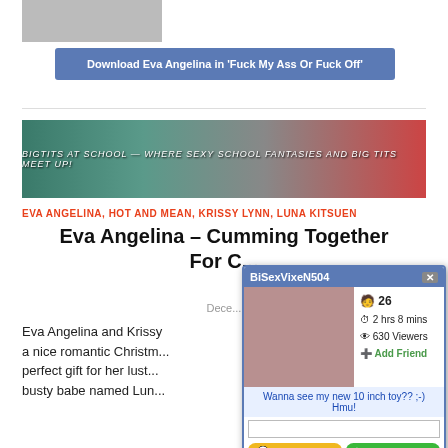[Figure (photo): Partial photo of a person, top-left corner]
Download Eva Angelina in 'Fuck My Ass Or Fuck Off'
[Figure (photo): BigTitsAtSchool website banner ad]
EVA ANGELINA, HOT AND MEAN, KRISSY LYNN, LUNA KITSUEN
Eva Angelina – Cumming Together For C...
Dece...
Eva Angelina and Krissy... a nice romantic Christm... perfect gift for her lust... busty babe named Lun...
[Figure (screenshot): Chat popup window showing BiSexVixeN504, age 26, 2 hrs 8 mins, 630 Viewers, Add Friend, with message 'Wanna see my new 10 inch toy?? ;-) Hmu!']